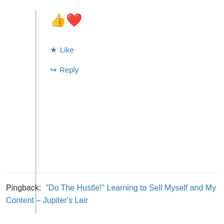👍❤️
★ Like
↪ Reply
Pingback: "Do The Hustle!" Learning to Sell Myself and My Content – Jupiter's Lair
Cara Thereon
8th Sep 2019 at 1:05 am
Those likes are sooo addictive. It's nice to have the reinforcement of views, but also the support of those who write similar things to pop 'round and